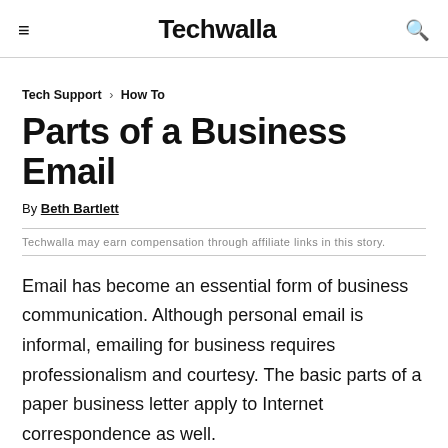≡  Techwalla  🔍
Tech Support › How To
Parts of a Business Email
By Beth Bartlett
Techwalla may earn compensation through affiliate links in this story.
Email has become an essential form of business communication. Although personal email is informal, emailing for business requires professionalism and courtesy. The basic parts of a paper business letter apply to Internet correspondence as well.